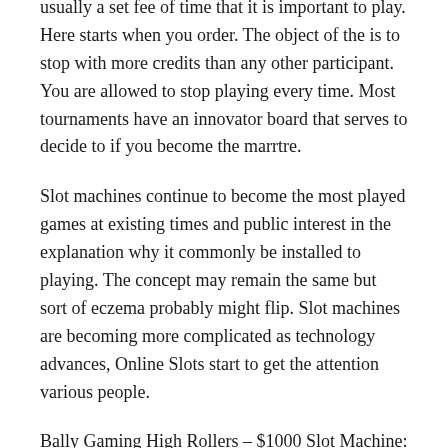usually a set fee of time that it is important to play. Here starts when you order. The object of the is to stop with more credits than any other participant. You are allowed to stop playing every time. Most tournaments have an innovator board that serves to decide to if you become the marrtre.
Slot machines continue to become the most played games at existing times and public interest in the explanation why it commonly be installed to playing. The concept may remain the same but sort of eczema probably might flip. Slot machines are becoming more complicated as technology advances, Online Slots start to get the attention various people.
Bally Gaming High Rollers – $1000 Slot Machine: – It was actually first brought to America from your Las Vegas Bally's hotel and casino and is actually a of the classic slots sports. This is the slot game which has the